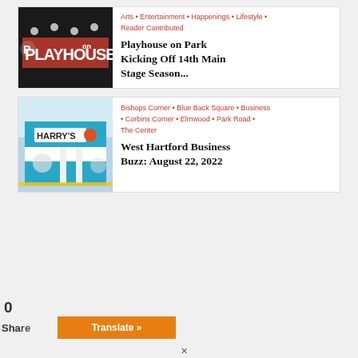[Figure (photo): Playhouse on Park sign with stage lights, dark background]
Arts • Entertainment • Happenings • Lifestyle • Reader Contributed
Playhouse on Park Kicking Off 14th Main Stage Season...
[Figure (photo): Harry's restaurant storefront, teal and white building exterior]
Bishops Corner • Blue Back Square • Business • Corbins Corner • Elmwood • Park Road • The Center
West Hartford Business Buzz: August 22, 2022
0 Share
Translate »